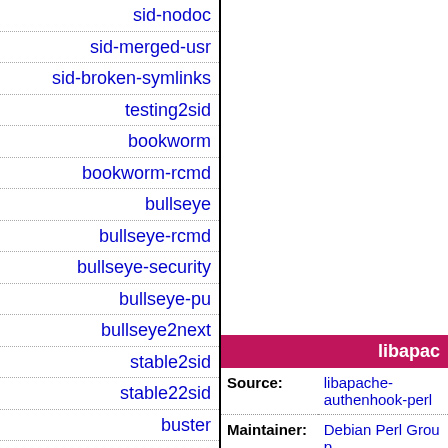sid-nodoc
sid-merged-usr
sid-broken-symlinks
testing2sid
bookworm
bookworm-rcmd
bullseye
bullseye-rcmd
bullseye-security
bullseye-pu
bullseye2next
stable2sid
stable22sid
buster
buster-rcmd
buster-security
buster-pu
buster2next
libapac…
| Field | Value |
| --- | --- |
| Source: | libapache-authenhook-perl |
| Maintainer: | Debian Perl Group |
| Uploaders: | Roberto C. Sanch
<ntyni@debian.or… |
| Binary: | libapache-
authenhook-perl |